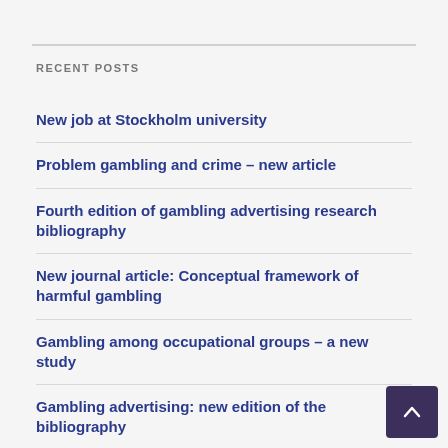RECENT POSTS
New job at Stockholm university
Problem gambling and crime – new article
Fourth edition of gambling advertising research bibliography
New journal article: Conceptual framework of harmful gambling
Gambling among occupational groups – a new study
Gambling advertising: new edition of the bibliography
1st GAMIC and 10th GARN meetings